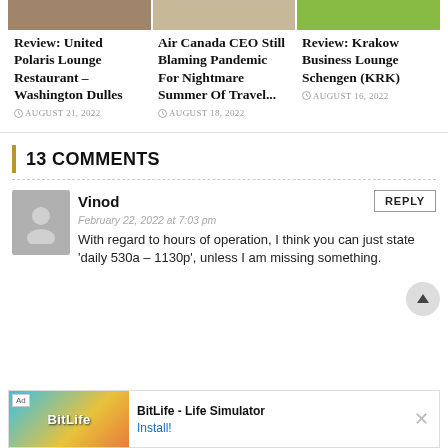[Figure (photo): Three article thumbnail images in a row: a restaurant/lounge interior, a person or scene related to airline, and a green background business lounge.]
Review: United Polaris Lounge Restaurant – Washington Dulles
AUGUST 21, 2022
Air Canada CEO Still Blaming Pandemic For Nightmare Summer Of Travel...
AUGUST 18, 2022
Review: Krakow Business Lounge Schengen (KRK)
AUGUST 16, 2022
13 COMMENTS
Vinod
February 22, 2022 at 7:03 pm
With regard to hours of operation, I think you can just state 'daily 530a – 1130p', unless I am missing something.
[Figure (screenshot): Advertisement banner for BitLife – Life Simulator app with Install! call to action.]